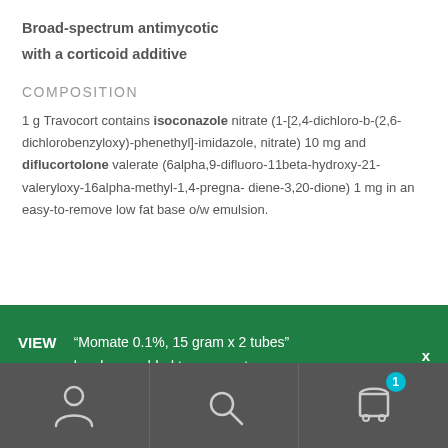Broad-spectrum antimycotic
with a corticoid additive
COMPOSITION
1 g Travocort contains isoconazole nitrate (1-[2,4-dichloro-b-(2,6-dichlorobenzyloxy)-phenethyl]-imidazole, nitrate) 10 mg and diflucortolone valerate (6alpha,9-difluoro-11beta-hydroxy-21-valeryloxy-16alpha-methyl-1,4-pregna- diene-3,20-dione) 1 mg in an easy-to-remove low fat base o/w emulsion.
VIEW CART “Momate 0.1%, 15 gram x 2 tubes” has been added to your cart.
[Figure (screenshot): Bottom navigation bar with user/account icon, search icon, and shopping cart icon with badge showing 1 item]